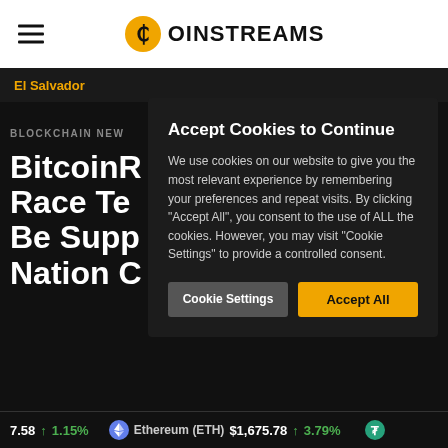COINSTREAMS
El Salvador
BLOCKCHAIN NEWS
BitcoinR Race Te Be Supp Nation C
Accept Cookies to Continue
We use cookies on our website to give you the most relevant experience by remembering your preferences and repeat visits. By clicking "Accept All", you consent to the use of ALL the cookies. However, you may visit "Cookie Settings" to provide a controlled consent.
Cookie Settings   Accept All
7.58 ↑ 1.15%   Ethereum (ETH) $1,675.78 ↑ 3.79%